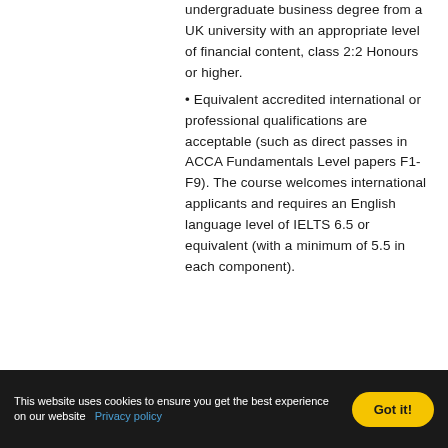undergraduate business degree from a UK university with an appropriate level of financial content, class 2:2 Honours or higher.
• Equivalent accredited international or professional qualifications are acceptable (such as direct passes in ACCA Fundamentals Level papers F1-F9). The course welcomes international applicants and requires an English language level of IELTS 6.5 or equivalent (with a minimum of 5.5 in each component).
This website uses cookies to ensure you get the best experience on our website   Privacy policy